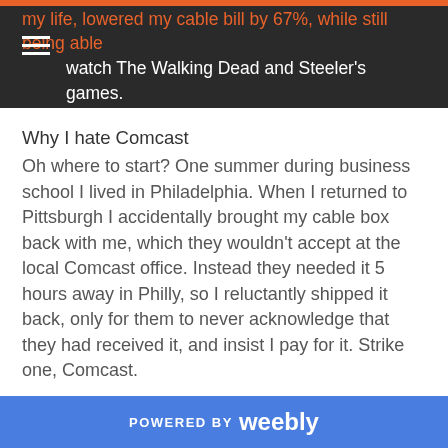my life, lowered my cable bill by 67%, while still being able to watch The Walking Dead and Steeler's games.
Why I hate Comcast
Oh where to start? One summer during business school I lived in Philadelphia. When I returned to Pittsburgh I accidentally brought my cable box back with me, which they wouldn't accept at the local Comcast office. Instead they needed it 5 hours away in Philly, so I reluctantly shipped it back, only for them to never acknowledge that they had received it, and insist I pay for it. Strike one, Comcast.
When I had cable “installed” at my new house, the “engineer” (I really am using the word in the loosest possible sense) decided the most appropriate setup involved drilling a hole through my 100 year old floor
POWERED BY weebly